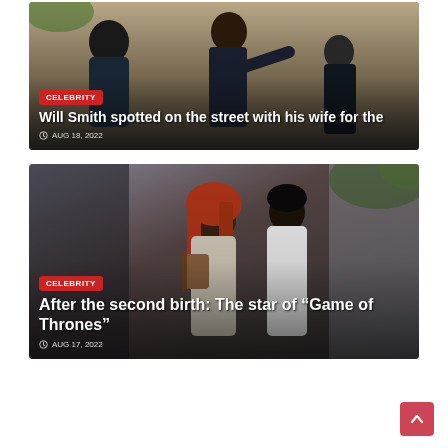[Figure (photo): Article card 1: Photo of people on a street (celebrities), with red CELEBRITY badge, headline 'Will Smith spotted on the street with his wife for the', and date AUG 18, 2022]
[Figure (photo): Article card 2: Photo of people (red-haired woman and man in white), with red CELEBRITY badge, headline 'After the second birth: The star of "Game of Thrones"', and date AUG 17, 2022]